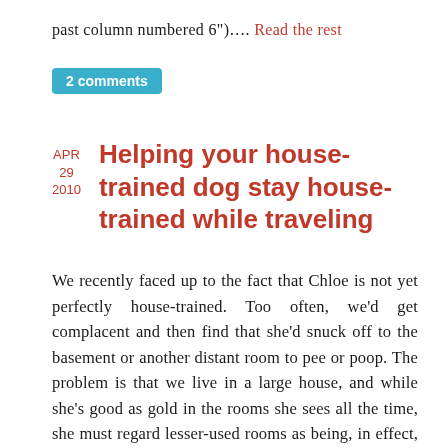past column numbered 6")…. Read the rest
2 comments
Helping your house-trained dog stay house-trained while traveling
APR
29
2010
We recently faced up to the fact that Chloe is not yet perfectly house-trained. Too often, we’d get complacent and then find that she’d snuck off to the basement or another distant room to pee or poop. The problem is that we live in a large house, and while she’s good as gold in the rooms she sees all the time, she must regard lesser-used rooms as being, in effect, outside…. Read the rest